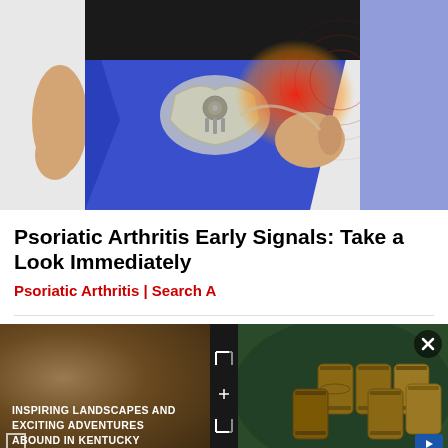[Figure (illustration): Medical illustration of a person wearing blue leggings showing hip joint x-ray with red inflammation/pain indicator on the right hip area]
Psoriatic Arthritis Early Signals: Take a Look Immediately
Psoriatic Arthritis | Search A
[Figure (photo): Advertisement banner showing Kentucky tourism - left side shows rocky landscape with text 'INSPIRING LANDSCAPES AND EXCITING ADVENTURES ABOUND IN KENTUCKY', right side shows wooden barrels with a close button (X) in top right corner]